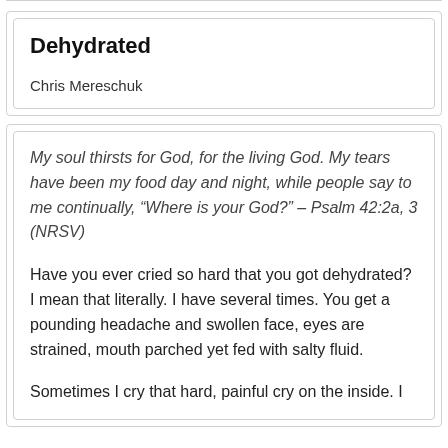Dehydrated
Chris Mereschuk
My soul thirsts for God, for the living God. My tears have been my food day and night, while people say to me continually, “Where is your God?” – Psalm 42:2a, 3 (NRSV)
Have you ever cried so hard that you got dehydrated? I mean that literally. I have several times. You get a pounding headache and swollen face, eyes are strained, mouth parched yet fed with salty fluid.
Sometimes I cry that hard, painful cry on the inside. I